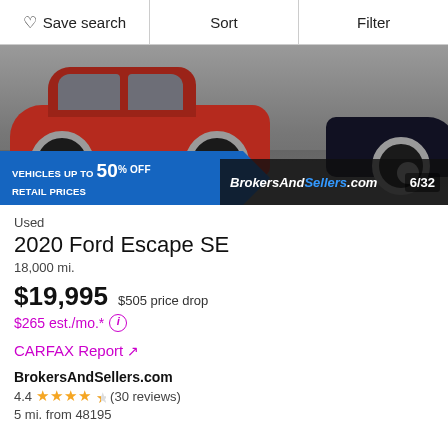Save search   Sort   Filter
[Figure (photo): Photo of a red Ford Escape SUV and a partial dark-colored vehicle on grey asphalt, with a blue promotional banner reading 'VEHICLES UP TO 50% OFF RETAIL PRICES' and a BrokersAndSellers.com logo with image counter 6/32.]
Used
2020 Ford Escape SE
18,000 mi.
$19,995   $505 price drop
$265 est./mo.* ⓘ
CARFAX Report ↗
BrokersAndSellers.com
4.4 ★★★★½ (30 reviews)
5 mi. from 48195